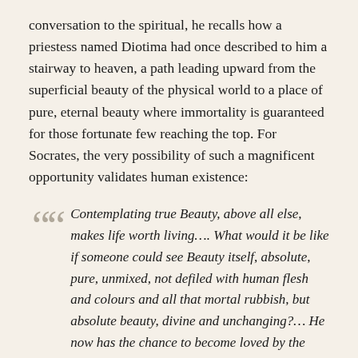conversation to the spiritual, he recalls how a priestess named Diotima had once described to him a stairway to heaven, a path leading upward from the superficial beauty of the physical world to a place of pure, eternal beauty where immortality is guaranteed for those fortunate few reaching the top. For Socrates, the very possibility of such a magnificent opportunity validates human existence:
Contemplating true Beauty, above all else, makes life worth living…. What would it be like if someone could see Beauty itself, absolute, pure, unmixed, not defiled with human flesh and colours and all that mortal rubbish, but absolute beauty, divine and unchanging?… He now has the chance to become loved by the gods and become